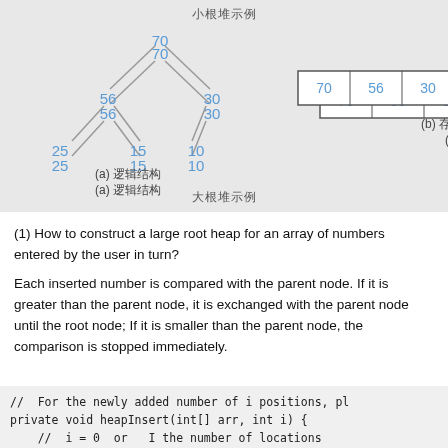[Figure (illustration): Diagram showing a max-heap example. Left side: tree with root 70, children 56 and 30; 56 has children 25 and 15; 30 has child 10. Labeled (a) 逻辑结构. Right side: array [70, 56, 30, 25, 15, 10] labeled (b) 存储结构. Top caption: 小根堆示例. Bottom caption: 大根堆示例.]
(1) How to construct a large root heap for an array of numbers entered by the user in turn?
Each inserted number is compared with the parent node. If it is greater than the parent node, it is exchanged with the parent node until the root node; If it is smaller than the parent node, the comparison is stopped immediately.
//  For the newly added number of i positions, pl
private void heapInsert(int[] arr, int i) {
    //  i = 0  or   I the number of locations